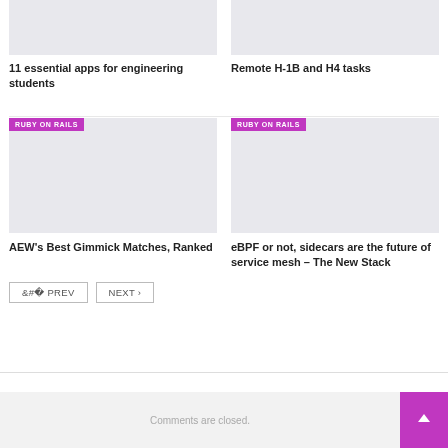[Figure (illustration): Gray placeholder image for article: 11 essential apps for engineering students]
11 essential apps for engineering students
[Figure (illustration): Gray placeholder image for article: Remote H-1B and H4 tasks]
Remote H-1B and H4 tasks
[Figure (illustration): Ruby on Rails tagged gray placeholder image for article: AEW's Best Gimmick Matches, Ranked]
AEW's Best Gimmick Matches, Ranked
[Figure (illustration): Ruby on Rails tagged gray placeholder image for article: eBPF or not, sidecars are the future of service mesh – The New Stack]
eBPF or not, sidecars are the future of service mesh – The New Stack
< PREV   NEXT >
Comments are closed.